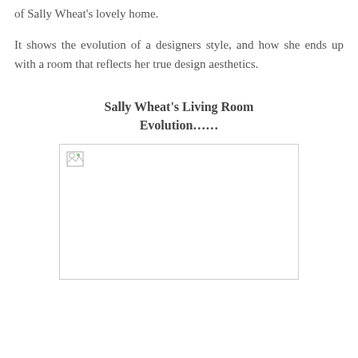of Sally Wheat's lovely home.
It shows the evolution of a designers style, and how she ends up with a room that reflects her true design aesthetics.
Sally Wheat's Living Room Evolution……
[Figure (photo): Broken/missing image placeholder representing a photo of Sally Wheat's living room]